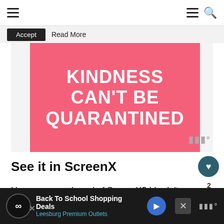≡  ≡ 🔍
Accept  Read More
[Figure (illustration): Pink background image with white bold text reading 'KINDNESS CAN'T BE QUARANTINED']
See it in ScreenX
Have you ever heard of ScreenX? I hadn't un last night. The screening of Elvis I attended w... in... y
[Figure (screenshot): Advertisement bar: 'Back To School Shopping Deals' from Leesburg Premium Outlets with close button]